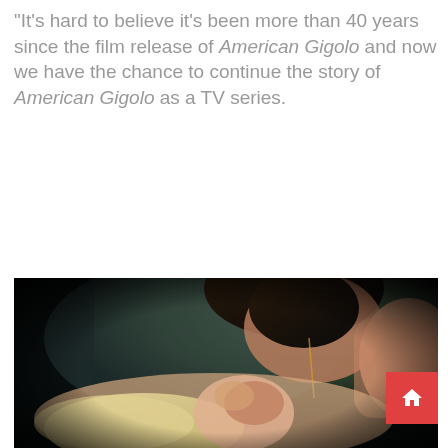“It’s hard to believe it’s been more than 40 years since the film release of American Gigolo and now we have the chance to continue the story of American Gigolo as a TV series.
[Figure (photo): A cinematic close-up scene from the TV series American Gigolo showing two people in an intimate moment, with dark moody lighting and warm tones.]